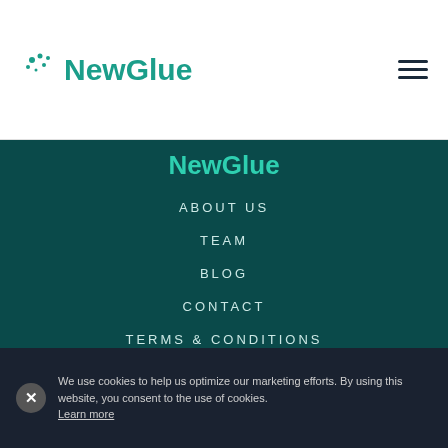NewGlue
NewGlue
ABOUT US
TEAM
BLOG
CONTACT
TERMS & CONDITIONS
PRIVACY POLICY
COOKIE POLICY
We use cookies to help us optimize our marketing efforts. By using this website, you consent to the use of cookies. Learn more